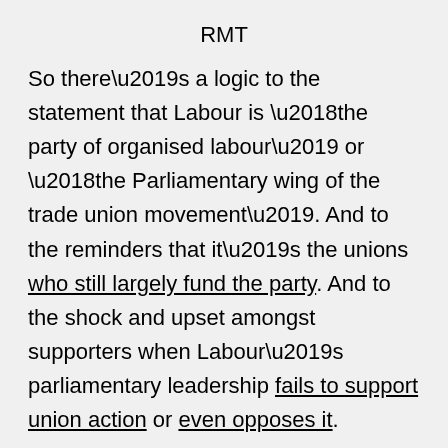RMT
So there’s a logic to the statement that Labour is ‘the party of organised labour’ or ‘the Parliamentary wing of the trade union movement’. And to the reminders that it’s the unions who still largely fund the party. And to the shock and upset amongst supporters when Labour’s parliamentary leadership fails to support union action or even opposes it.
His Majesty’s loyal opposition
It turns out, though, that the will of those early Labour leaders – and of their comrades at the